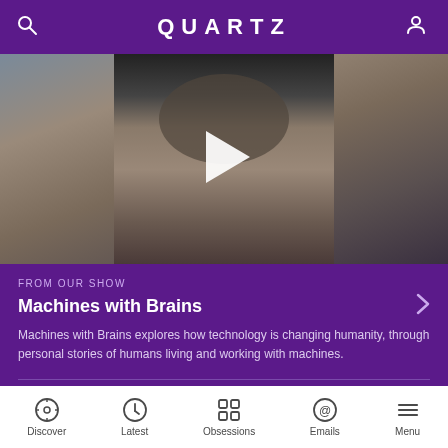QUARTZ
[Figure (photo): Video thumbnail showing a man wearing glasses and a light gray shirt, with a white play button triangle overlaid in the center]
FROM OUR SHOW
Machines with Brains
Machines with Brains explores how technology is changing humanity, through personal stories of humans living and working with machines.
By Natasha Frost
Discover  Latest  Obsessions  Emails  Menu